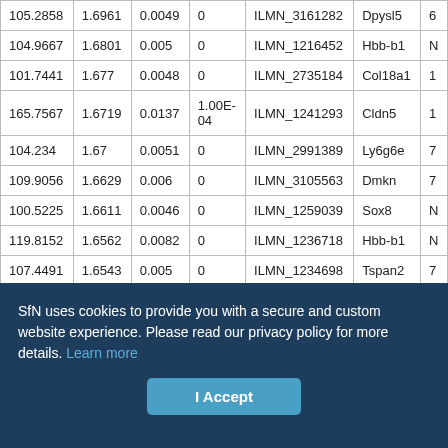|  |  |  |  |  |  |  |
| --- | --- | --- | --- | --- | --- | --- |
| 105.2858 | 1.6961 | 0.0049 | 0 | ILMN_3161282 | Dpysl5 | 6 |
| 104.9667 | 1.6801 | 0.005 | 0 | ILMN_1216452 | Hbb-b1 | N |
| 101.7441 | 1.677 | 0.0048 | 0 | ILMN_2735184 | Col18a1 | 1 |
| 165.7567 | 1.6719 | 0.0137 | 1.00E-04 | ILMN_1241293 | Cldn5 | 1 |
| 104.234 | 1.67 | 0.0051 | 0 | ILMN_2991389 | Ly6g6e | 7 |
| 109.9056 | 1.6629 | 0.006 | 0 | ILMN_3105563 | Dmkn | 7 |
| 100.5225 | 1.6611 | 0.0046 | 0 | ILMN_1259039 | Sox8 | N |
| 119.8152 | 1.6562 | 0.0082 | 0 | ILMN_1236718 | Hbb-b1 | N |
| 107.4491 | 1.6543 | 0.005 | 0 | ILMN_1234698 | Tspan2 | 7 |
SfN uses cookies to provide you with a secure and custom website experience. Please read our privacy policy for more details. Learn more